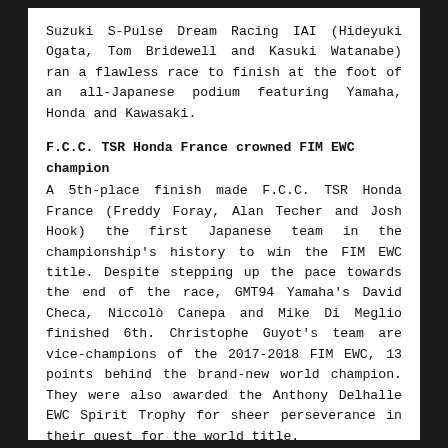Suzuki S-Pulse Dream Racing IAI (Hideyuki Ogata, Tom Bridewell and Kasuki Watanabe) ran a flawless race to finish at the foot of an all-Japanese podium featuring Yamaha, Honda and Kawasaki.
F.C.C. TSR Honda France crowned FIM EWC champion
A 5th-place finish made F.C.C. TSR Honda France (Freddy Foray, Alan Techer and Josh Hook) the first Japanese team in the championship's history to win the FIM EWC title. Despite stepping up the pace towards the end of the race, GMT94 Yamaha's David Checa, Niccolò Canepa and Mike Di Meglio finished 6th. Christophe Guyot's team are vice-champions of the 2017-2018 FIM EWC, 13 points behind the brand-new world champion. They were also awarded the Anthony Delhalle EWC Spirit Trophy for sheer perseverance in their quest for the world title.
[Figure (other): Gear/settings icon in a dark square box]
her praiseworthy full-season FIM EWC team is British d Honda Endurance Racing, who finished 9th just